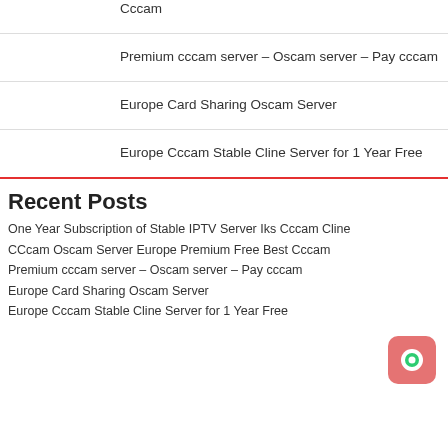Cccam
Premium cccam server – Oscam server – Pay cccam
Europe Card Sharing Oscam Server
Europe Cccam Stable Cline Server for 1 Year Free
Recent Posts
One Year Subscription of Stable IPTV Server Iks Cccam Cline
CCcam Oscam Server Europe Premium Free Best Cccam
Premium cccam server – Oscam server – Pay cccam
Europe Card Sharing Oscam Server
Europe Cccam Stable Cline Server for 1 Year Free